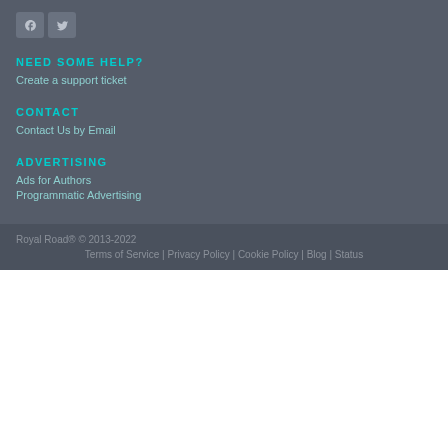[Figure (logo): Facebook and Twitter social media icon buttons]
NEED SOME HELP?
Create a support ticket
CONTACT
Contact Us by Email
ADVERTISING
Ads for Authors
Programmatic Advertising
Royal Road® © 2013-2022
Terms of Service | Privacy Policy | Cookie Policy | Blog | Status